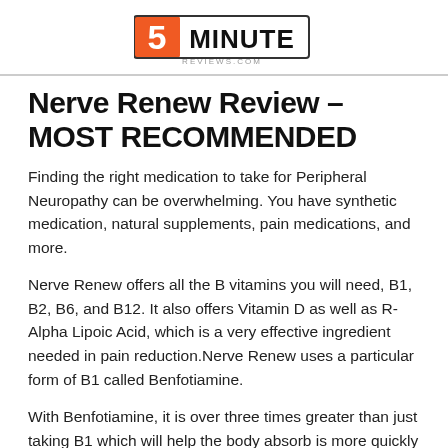[Figure (logo): 5 Minute Reviews logo — orange rectangle with white '5' and bold black 'MINUTE' text, with 'REVIEWS.COM' below in small gray text]
Nerve Renew Review – MOST RECOMMENDED
Finding the right medication to take for Peripheral Neuropathy can be overwhelming. You have synthetic medication, natural supplements, pain medications, and more.
Nerve Renew offers all the B vitamins you will need, B1, B2, B6, and B12. It also offers Vitamin D as well as R-Alpha Lipoic Acid, which is a very effective ingredient needed in pain reduction.Nerve Renew uses a particular form of B1 called Benfotiamine.
With Benfotiamine, it is over three times greater than just taking B1 which will help the body absorb is more quickly